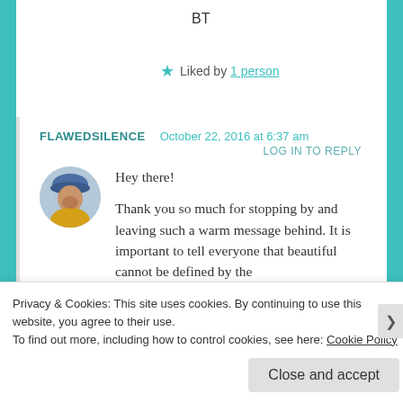BT
★ Liked by 1 person
FLAWEDSILENCE   October 22, 2016 at 6:37 am
LOG IN TO REPLY
[Figure (photo): Circular avatar photo of a person wearing a blue hat and yellow jacket]
Hey there!

Thank you so much for stopping by and leaving such a warm message behind. It is important to tell everyone that beautiful cannot be defined by the
Privacy & Cookies: This site uses cookies. By continuing to use this website, you agree to their use.
To find out more, including how to control cookies, see here: Cookie Policy
Close and accept